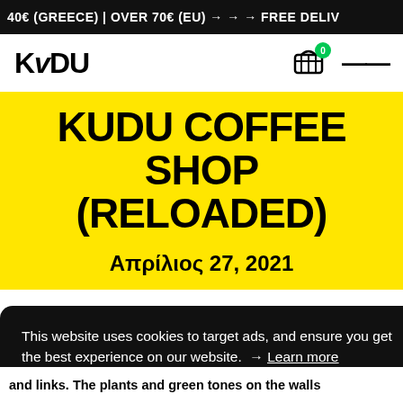40€ (GREECE) | OVER 70€ (EU) → → → FREE DELIV
[Figure (logo): KUDU logo in bold black text]
KUDU COFFEE SHOP (RELOADED)
Απρίλιος 27, 2021
This website uses cookies to target ads, and ensure you get the best experience on our website. → Learn more
Submit
and links. The plants and green tones on the walls